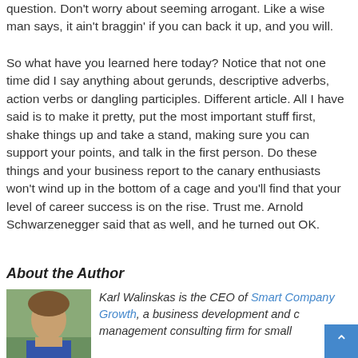question. Don't worry about seeming arrogant. Like a wise man says, it ain't braggin' if you can back it up, and you will.
So what have you learned here today? Notice that not one time did I say anything about gerunds, descriptive adverbs, action verbs or dangling participles. Different article. All I have said is to make it pretty, put the most important stuff first, shake things up and take a stand, making sure you can support your points, and talk in the first person. Do these things and your business report to the canary enthusiasts won't wind up in the bottom of a cage and you'll find that your level of career success is on the rise. Trust me. Arnold Schwarzenegger said that as well, and he turned out OK.
About the Author
[Figure (photo): Photo of Karl Walinskas, a man with brown hair wearing a blue shirt, with green plants in background]
Karl Walinskas is the CEO of Smart Company Growth, a business development and management consulting firm for small